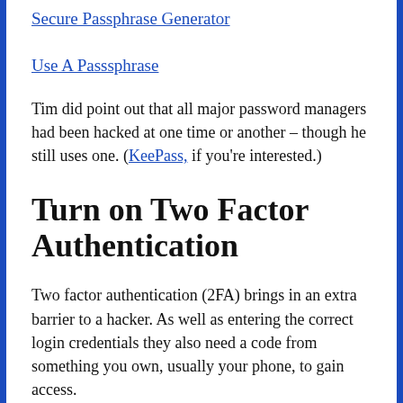Secure Passphrase Generator
Use A Passsphrase
Tim did point out that all major password managers had been hacked at one time or another – though he still uses one. (KeePass, if you're interested.)
Turn on Two Factor Authentication
Two factor authentication (2FA) brings in an extra barrier to a hacker. As well as entering the correct login credentials they also need a code from something you own, usually your phone, to gain access.